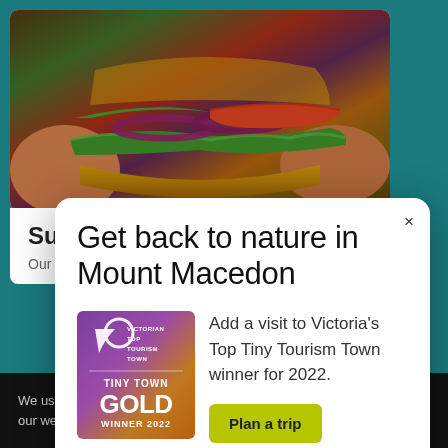[Figure (photo): Close-up photo of a large burger held in hands, showing layers of lettuce, red onion rings, tomato, and a toasted bun]
Super Lekker Burgers
Our aim... locally...
We use coo our website
[Figure (infographic): Modal popup overlay with title 'Get back to nature in Mount Macedon', featuring a Victorian Top Tourism Town Tiny Town Gold Winner 2022 badge on the left, descriptive text 'Add a visit to Victoria's Top Tiny Tourism Town winner for 2022.' and a yellow-green 'Plan a trip' button]
Get back to nature in Mount Macedon
Add a visit to Victoria's Top Tiny Tourism Town winner for 2022.
Plan a trip